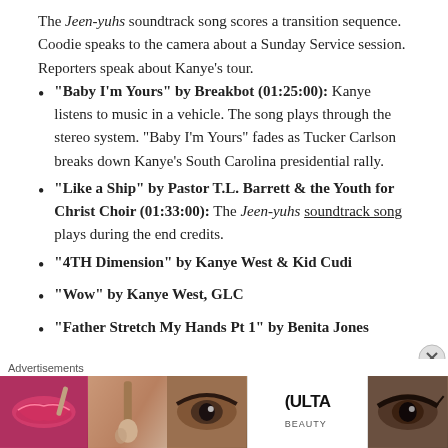The Jeen-yuhs soundtrack song scores a transition sequence. Coodie speaks to the camera about a Sunday Service session. Reporters speak about Kanye's tour.
"Baby I'm Yours" by Breakbot (01:25:00): Kanye listens to music in a vehicle. The song plays through the stereo system. "Baby I'm Yours" fades as Tucker Carlson breaks down Kanye's South Carolina presidential rally.
"Like a Ship" by Pastor T.L. Barrett & the Youth for Christ Choir (01:33:00): The Jeen-yuhs soundtrack song plays during the end credits.
"4TH Dimension" by Kanye West & Kid Cudi
"Wow" by Kanye West, GLC
"Father Stretch My Hands Pt 1" by Benita Jones
[Figure (infographic): Ulta Beauty advertisement banner with makeup imagery (lips, brush, eyes) and SHOP NOW call to action]